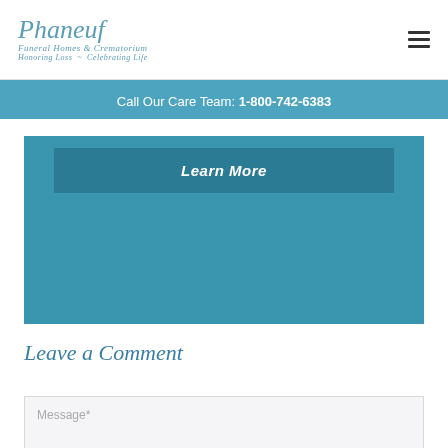Phaneuf Funeral Homes & Crematorium · Honoring Loss ~ Celebrating Life
Call Our Care Team: 1-800-742-6383
Learn More
Leave a Comment
Message*